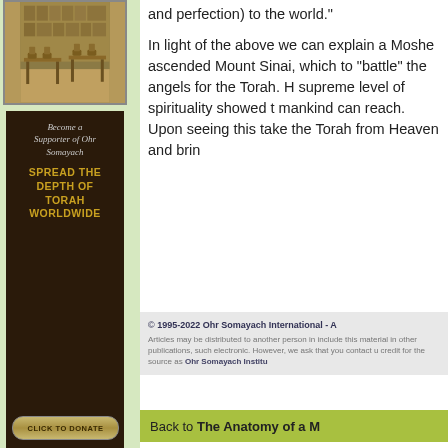[Figure (photo): Interior photo of a study hall or synagogue with wooden chairs and tables]
Become a Supporter of Ohr Somayach
SPREAD THE DEPTH OF TORAH WORLDWIDE
CLICK TO DONATE
and perfection) to the world."
In light of the above we can explain a Moshe ascended Mount Sinai, which to "battle" the angels for the Torah. H supreme level of spirituality showed t mankind can reach. Upon seeing this take the Torah from Heaven and brin
© 1995-2022 Ohr Somayach International - A
Articles may be distributed to another person in include this material in other publications, such electronic. However, we ask that you contact u credit for the source as Ohr Somayach Institu
Back to The Anatomy of a M